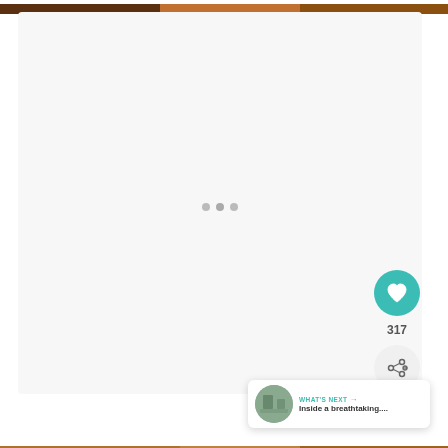[Figure (photo): Top strip showing a partial photo of people or scene with warm brown/orange tones]
[Figure (screenshot): Large white/light gray content card area with three pagination dots in the center, a teal heart/like button on the right showing 317 likes, a gray share button below it, and a 'WHAT'S NEXT' card in the bottom right with a thumbnail and text 'Inside a breathtaking...']
[Figure (photo): Bottom strip showing partial photo with warm brown/orange tones]